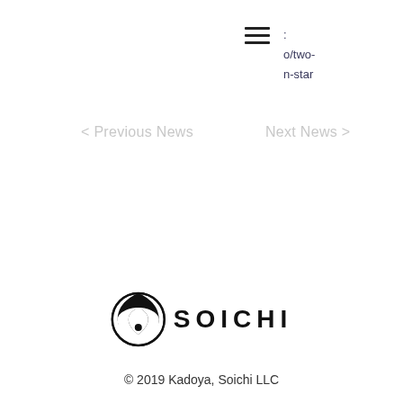[Figure (logo): Hamburger menu icon (three horizontal bars)]
:
o/two-
n-star
< Previous News
Next News >
[Figure (logo): Soichi logo: circular yin-yang fish symbol followed by the word SOICHI in bold uppercase letters]
© 2019 Kadoya, Soichi LLC